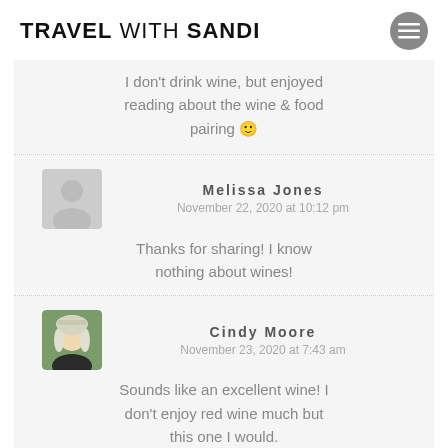TRAVEL WITH SANDI
I don't drink wine, but enjoyed reading about the wine & food pairing 🙂
Melissa Jones
November 22, 2020 at 10:12 pm
Thanks for sharing! I know nothing about wines!
Cindy Moore
November 23, 2020 at 7:43 am
Sounds like an excellent wine! I don't enjoy red wine much but this one I would.